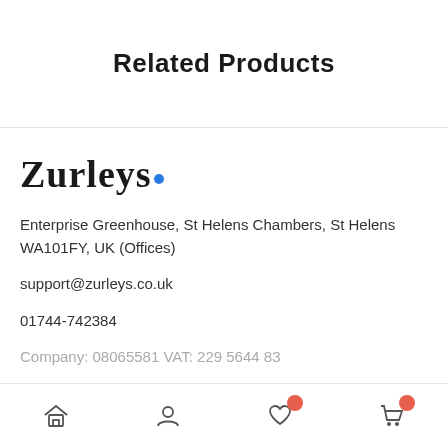Related Products
[Figure (logo): Zurleys logo with blue dot after the company name]
Enterprise Greenhouse, St Helens Chambers, St Helens WA101FY, UK (Offices)
support@zurleys.co.uk
01744-742384
Company: 08065581 VAT: 229 5644 83
Navigation bar with home, account, wishlist, and cart icons